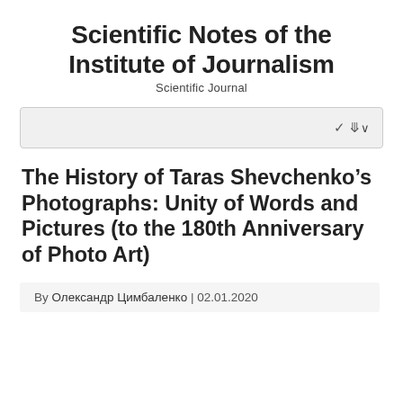Scientific Notes of the Institute of Journalism
Scientific Journal
[Figure (other): Dropdown selector UI element with chevron arrow on right side]
The History of Taras Shevchenko’s Photographs: Unity of Words and Pictures (to the 180th Anniversary of Photo Art)
By Олександр Цимбаленко | 02.01.2020